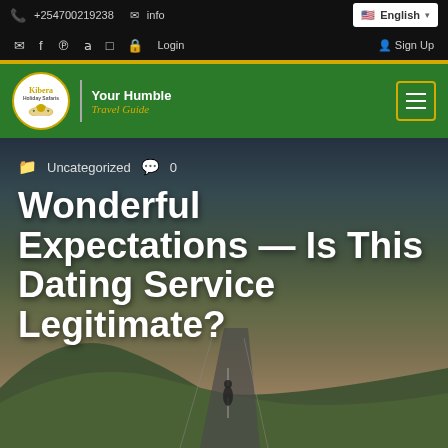+254700219238   info@...   English
Login   Sign Up
[Figure (screenshot): Kibera Holiday Safaris logo — circular badge with lion and palm trees, text 'Your Humble Travel Guide' on green header background with hamburger menu button]
Uncategorized  0
Wonderful Expectations — Is This Dating Service Legitimate?